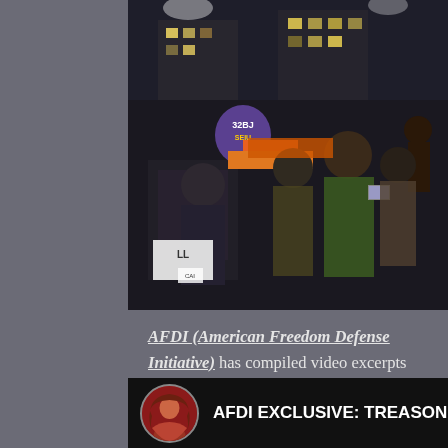[Figure (photo): Nighttime protest scene with people at a podium and crowd raising fists, banners visible including '32BJ SEIU']
AFDI (American Freedom Defense Initiative) has compiled video excerpts that exposes this treasonous revolt
[Figure (screenshot): Video thumbnail showing a woman's avatar and text 'AFDI EXCLUSIVE: TREASON: Dem' on black background]